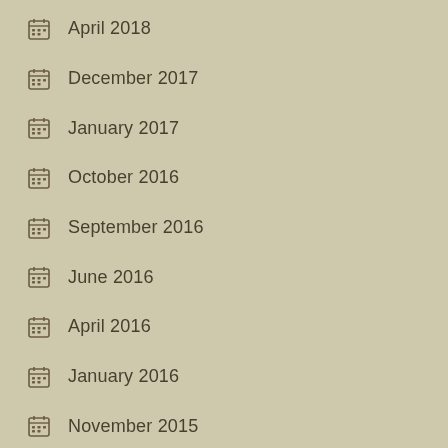April 2018
December 2017
January 2017
October 2016
September 2016
June 2016
April 2016
January 2016
November 2015